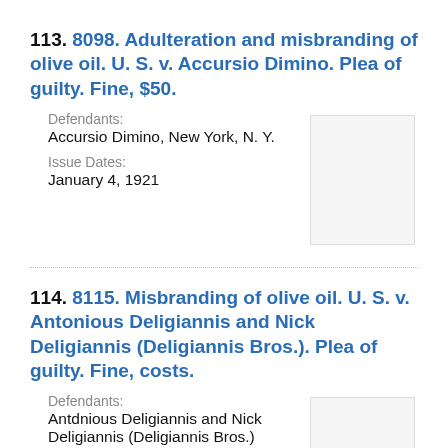113. 8098. Adulteration and misbranding of olive oil. U. S. v. Accursio Dimino. Plea of guilty. Fine, $50.
Defendants:
Accursio Dimino, New York, N. Y.
Issue Dates:
January 4, 1921
[Figure (other): Thumbnail image of a legal document page with dense small text]
114. 8115. Misbranding of olive oil. U. S. v. Antonious Deligiannis and Nick Deligiannis (Deligiannis Bros.). Plea of guilty. Fine, costs.
Defendants:
Antdnious Deligiannis and Nick Deligiannis (Deligiannis Bros.)
[Figure (other): Thumbnail image of a legal document page with dense small text]